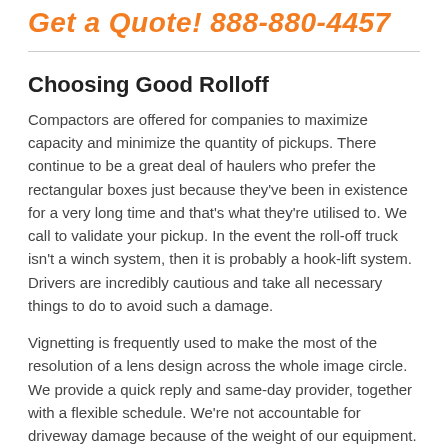Get a Quote! 888-880-4457
Choosing Good Rolloff
Compactors are offered for companies to maximize capacity and minimize the quantity of pickups. There continue to be a great deal of haulers who prefer the rectangular boxes just because they've been in existence for a very long time and that's what they're utilised to. We call to validate your pickup. In the event the roll-off truck isn't a winch system, then it is probably a hook-lift system. Drivers are incredibly cautious and take all necessary things to do to avoid such a damage.
Vignetting is frequently used to make the most of the resolution of a lens design across the whole image circle. We provide a quick reply and same-day provider, together with a flexible schedule. We're not accountable for driveway damage because of the weight of our equipment. Our service areas vary from Longmont